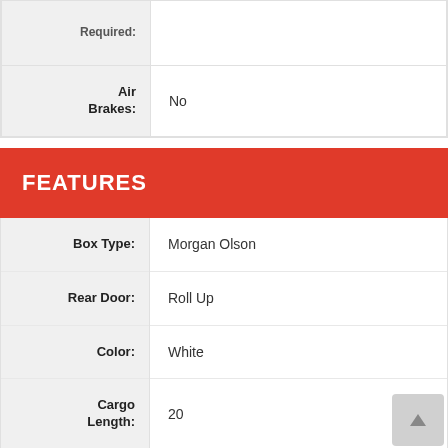| Field | Value |
| --- | --- |
| Required: |  |
| Air Brakes: | No |
FEATURES
| Field | Value |
| --- | --- |
| Box Type: | Morgan Olson |
| Rear Door: | Roll Up |
| Color: | White |
| Cargo Length: | 20 |
| Shelving: | Yes |